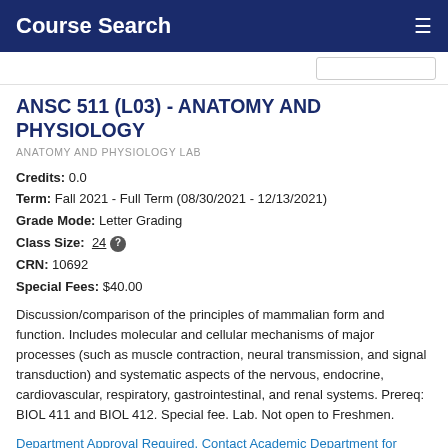Course Search
ANSC 511 (L03) - ANATOMY AND PHYSIOLOGY
ANATOMY AND PHYSIOLOGY LAB
Credits: 0.0
Term: Fall 2021 - Full Term (08/30/2021 - 12/13/2021)
Grade Mode: Letter Grading
Class Size: 24
CRN: 10692
Special Fees: $40.00
Discussion/comparison of the principles of mammalian form and function. Includes molecular and cellular mechanisms of major processes (such as muscle contraction, neural transmission, and signal transduction) and systematic aspects of the nervous, endocrine, cardiovascular, respiratory, gastrointestinal, and renal systems. Prereq: BIOL 411 and BIOL 412. Special fee. Lab. Not open to Freshmen.
Department Approval Required. Contact Academic Department for permission then register through Webcat.